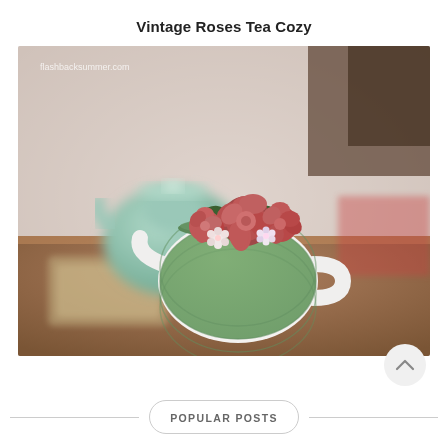Vintage Roses Tea Cozy
[Figure (photo): A crocheted green tea cozy with pink and white roses and dark green leaves on top, placed over a white teapot on a wooden table. In the background, a mint-colored teapot is blurred. Watermark reads 'flashbacksummer.com'.]
POPULAR POSTS